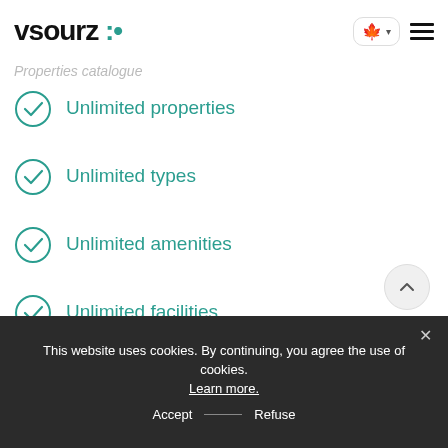vsourz :: (logo with Canadian flag and hamburger menu)
Properties catalogue
Unlimited properties
Unlimited types
Unlimited amenities
Unlimited facilities
Content managed property/type description – HTML enriched
This website uses cookies. By continuing, you agree the use of cookies. Learn more.
Accept — Refuse